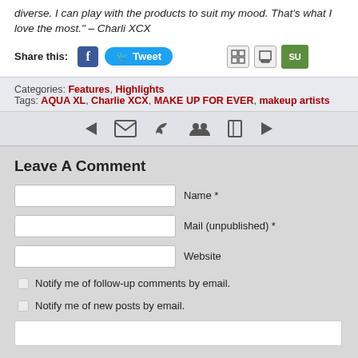diverse. I can play with the products to suit my mood. That's what I love the most." – Charli XCX
Share this: [Facebook] [Tweet] [icons]
Categories: Features, Highlights
Tags: AQUA XL, Charlie XCX, MAKE UP FOR EVER, makeup artists
[Figure (infographic): Navigation bar with back arrow, email icon, bird icon, people icon, bookmark icon, forward arrow]
Leave A Comment
Name *
Mail (unpublished) *
Website
Notify me of follow-up comments by email.
Notify me of new posts by email.